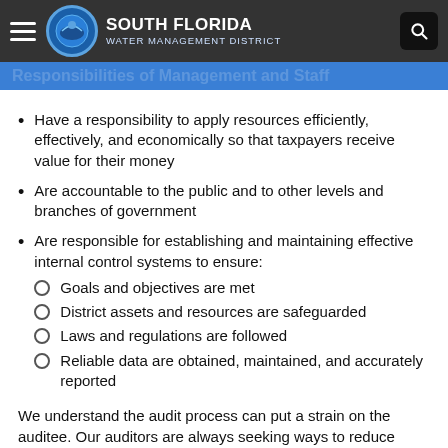South Florida Water Management District
Responsibilities of Management and Staff
Have a responsibility to apply resources efficiently, effectively, and economically so that taxpayers receive value for their money
Are accountable to the public and to other levels and branches of government
Are responsible for establishing and maintaining effective internal control systems to ensure:
Goals and objectives are met
District assets and resources are safeguarded
Laws and regulations are followed
Reliable data are obtained, maintained, and accurately reported
We understand the audit process can put a strain on the auditee. Our auditors are always seeking ways to reduce disruption to operations and to minimize the